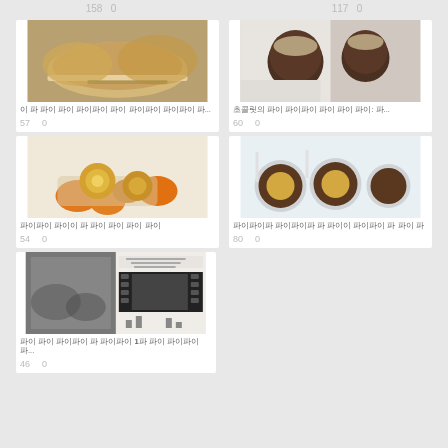158   0        117   0
[Figure (photo): Food photo: pastry/pie on a plate]
이 파 파이 파이 파이파이 파이 파이파이 파이파이 파...
57   0
[Figure (photo): Food photo: chocolate pudding cups with toppings]
초콜릿의 파이 파이파이 파이 파이 파이: 파...
60   0
[Figure (photo): Food photo: decorative gourds and cookies on a table]
파이파이 파이이 파 파이 파이 파이 파이
54   0
[Figure (photo): Food photo: chocolate-coated peanut butter cups]
파이파이파 파이파이파 파 파이이 파이파이 파 파이 파
80   0
[Figure (photo): Historic black and white photo with film strip document]
파이 파이 파이파이 파 파이파이 1파 파이 파이파이 파...
46   0